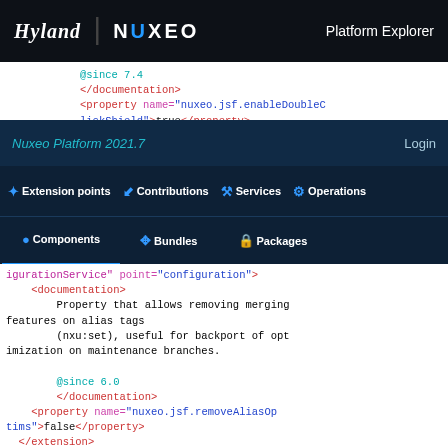Hyland | NUXEO  Platform Explorer
@since 7.4
</documentation>
<property name="nuxeo.jsf.enableDoubleClickShield">true</property>
Nuxeo Platform 2021.7   Login
Extension points  Contributions  Services  Operations
Components  Bundles  Packages
<extension target="org.nuxeo.ecm.Admin.ConfigurationService" point="configuration">
<documentation>
Property that allows removing merging features on alias tags
        (nxu:set), useful for backport of optimization on maintenance branches.

        @since 6.0
        </documentation>
<property name="nuxeo.jsf.removeAliasOptims">false</property>
  </extension>

<extension target="org.nuxeo.runtime.Conf